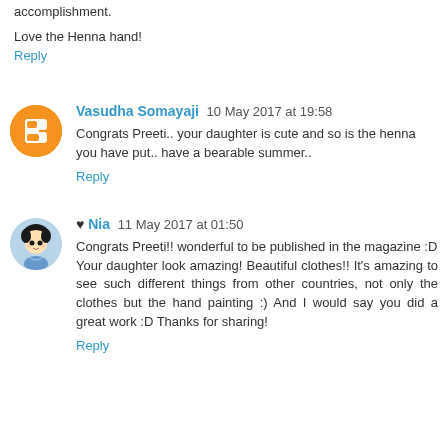accomplishment.
Love the Henna hand!
Reply
Vasudha Somayaji 10 May 2017 at 19:58
Congrats Preeti.. your daughter is cute and so is the henna you have put.. have a bearable summer..
Reply
♥ Nia 11 May 2017 at 01:50
Congrats Preeti!! wonderful to be published in the magazine :D
Your daughter look amazing! Beautiful clothes!! It's amazing to see such different things from other countries, not only the clothes but the hand painting :) And I would say you did a great work :D Thanks for sharing!
Reply